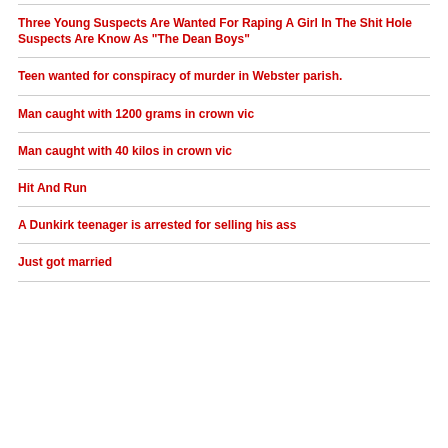Three Young Suspects Are Wanted For Raping A Girl In The Shit Hole Suspects Are Know As "The Dean Boys"
Teen wanted for conspiracy of murder in Webster parish.
Man caught with 1200 grams in crown vic
Man caught with 40 kilos in crown vic
Hit And Run
A Dunkirk teenager is arrested for selling his ass
Just got married